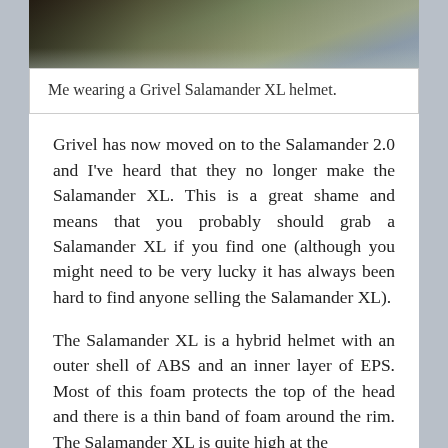[Figure (photo): Photo of a person wearing a Grivel Salamander XL helmet outdoors on rocky terrain with vegetation]
Me wearing a Grivel Salamander XL helmet.
Grivel has now moved on to the Salamander 2.0 and I've heard that they no longer make the Salamander XL. This is a great shame and means that you probably should grab a Salamander XL if you find one (although you might need to be very lucky it has always been hard to find anyone selling the Salamander XL).
The Salamander XL is a hybrid helmet with an outer shell of ABS and an inner layer of EPS. Most of this foam protects the top of the head and there is a thin band of foam around the rim. The Salamander XL is quite high at the